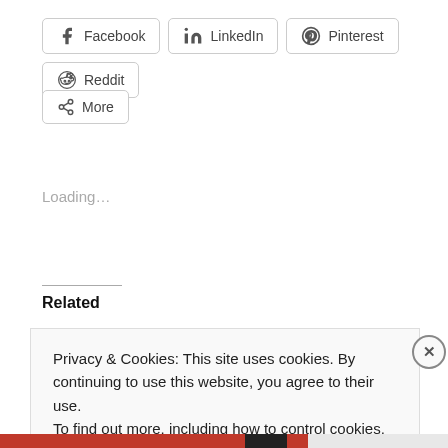[Figure (other): Row of social share buttons: Facebook, LinkedIn, Pinterest, Reddit]
[Figure (other): More share button]
Loading...
Related
You're Not Special
June 8, 2012
In "Children"
I Am Too Bitter
June 18, 2012
In "blogging"
Privacy & Cookies: This site uses cookies. By continuing to use this website, you agree to their use.
To find out more, including how to control cookies, see here: Cookie Policy
Close and accept